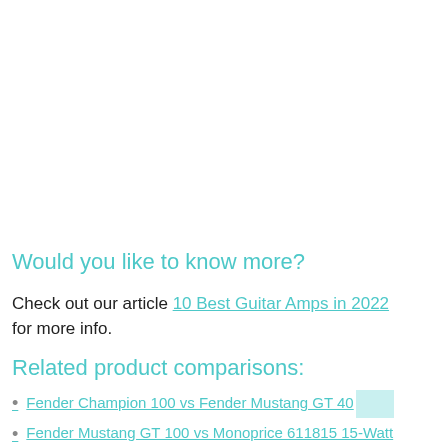Would you like to know more?
Check out our article 10 Best Guitar Amps in 2022 for more info.
Related product comparisons:
Fender Champion 100 vs Fender Mustang GT 40
Fender Mustang GT 100 vs Monoprice 611815 15-Watt